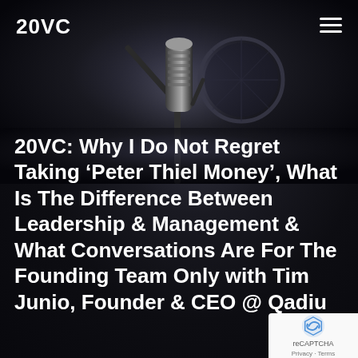[Figure (photo): Dark background photo of a professional studio microphone with pop filter, shot in low-key moody lighting against a near-black background]
20VC
20VC: Why I Do Not Regret Taking ‘Peter Thiel Money’, What Is The Difference Between Leadership & Management & What Conversations Are For The Founding Team Only with Tim Junio, Founder & CEO @ Qadiu